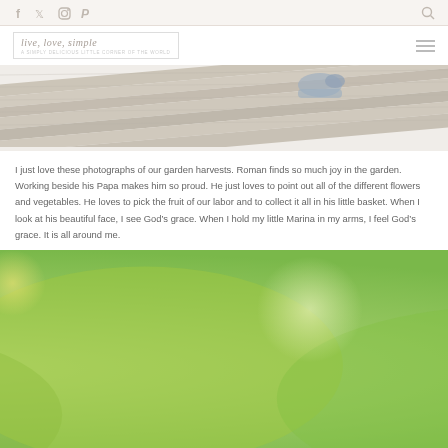Social nav icons: Facebook, Twitter, Instagram, Pinterest, Search
[Figure (logo): Live Love Simple blog logo with cursive text and subtitle]
[Figure (photo): Photograph of wooden deck planks with a child's shoe visible, garden/outdoor setting]
I just love these photographs of our garden harvests. Roman finds so much joy in the garden. Working beside his Papa makes him so proud. He just loves to point out all of the different flowers and vegetables. He loves to pick the fruit of our labor and to collect it all in his little basket. When I look at his beautiful face, I see God’s grace. When I hold my little Marina in my arms, I feel God’s grace. It is all around me.
[Figure (photo): Photograph of lush green garden foliage with bokeh light effects, green and yellow tones]